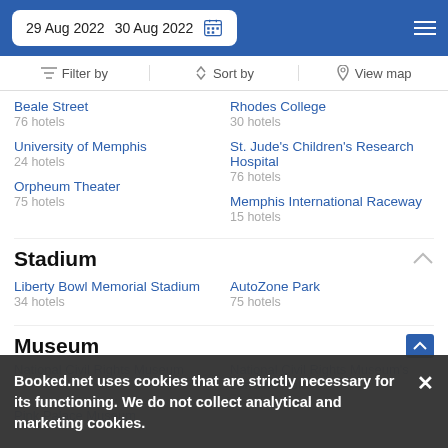29 Aug 2022  30 Aug 2022
Filter by | Sort by | View map
Beale Street
76 hotels
Rhodes College
30 hotels
University of Memphis
24 hotels
St. Jude's Children's Research Hospital
76 hotels
Orpheum Theater
75 hotels
Memphis International Raceway
15 hotels
Stadium
Liberty Bowl Memorial Stadium
34 hotels
AutoZone Park
75 hotels
Museum
National Civil Rights Museum
36 hotels
National Civil Rights Museum's Lorraine Hotel
75 hotels
Pink Palace Museum
Booked.net uses cookies that are strictly necessary for its functioning. We do not collect analytical and marketing cookies.